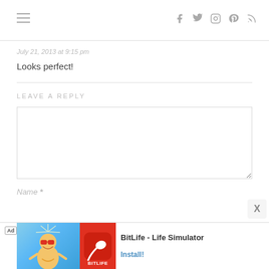Navigation bar with hamburger menu and social icons (f, twitter, instagram, pinterest, rss)
July 21, 2013 at 9:15 pm
Looks perfect!
LEAVE A REPLY
[Figure (other): Comment reply textarea input field]
Name *
[Figure (other): Ad banner for BitLife - Life Simulator app with cartoon character on blue background and Install! button]